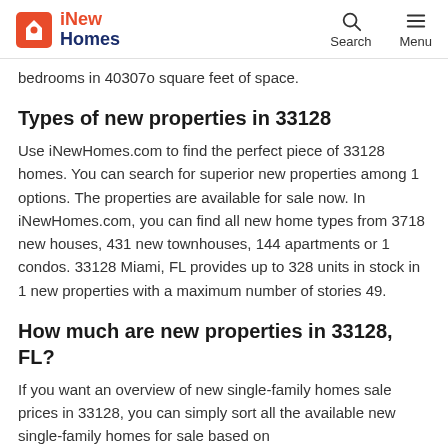iNew Homes | Search | Menu
bedrooms in 40307o square feet of space.
Types of new properties in 33128
Use iNewHomes.com to find the perfect piece of 33128 homes. You can search for superior new properties among 1 options. The properties are available for sale now. In iNewHomes.com, you can find all new home types from 3718 new houses, 431 new townhouses, 144 apartments or 1 condos. 33128 Miami, FL provides up to 328 units in stock in 1 new properties with a maximum number of stories 49.
How much are new properties in 33128, FL?
If you want an overview of new single-family homes sale prices in 33128, you can simply sort all the available new single-family homes for sale based on